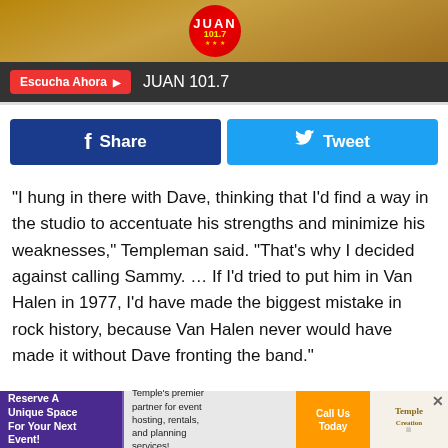[Figure (screenshot): JUAN 101.7 radio station website header with hamburger menu icon on left, JUAN 101.7 logo in center, and red play button on right]
Escucha Ahora ▶  JUAN 101.7
[Figure (screenshot): Social sharing buttons: blue Facebook Share button and light blue Twitter Tweet button]
“I hung in there with Dave, thinking that I’d find a way in the studio to accentuate his strengths and minimize his weaknesses,” Templeman said. “That’s why I decided against calling Sammy. … If I’d tried to put him in Van Halen in 1977, I’d have made the biggest mistake in rock history, because Van Halen never would have made it without Dave fronting the band.”
[Figure (screenshot): Advertisement banner: Reserve A Unique Space For Your Next Event! Temple's premier partner for event hosting, rentals, and planning services! Call Us Today]